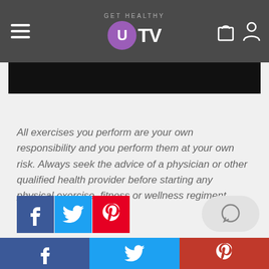GET HEALTHY U TV
[Figure (screenshot): Black video bar at top of content area]
All exercises you perform are your own responsibility and you perform them at your own risk. Always seek the advice of a physician or other qualified health provider before starting any physical exercise, fitness or wellness regiment.
[Figure (infographic): Social share buttons: Facebook (blue), Twitter (light blue), Pinterest (red), and a comment bubble icon]
Facebook share | Twitter share | Pinterest share (bottom bar)